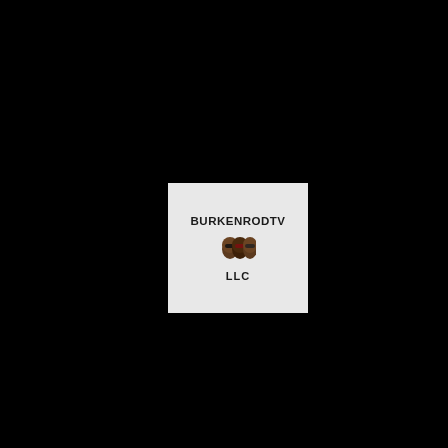[Figure (logo): BURKENRODTV LLC logo on a light gray square background centered on a black page. Shows the brand name 'BURKENRODTV' in bold black letters above three illustrated faces/heads wearing sunglasses, with 'LLC' text below.]